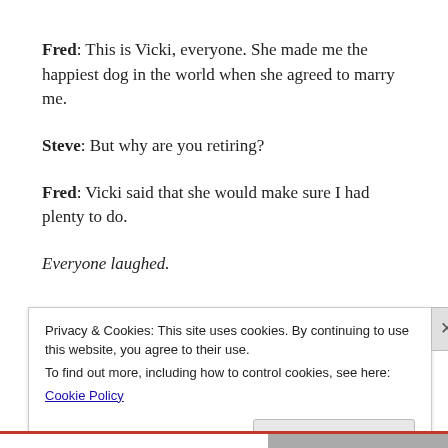Fred: This is Vicki, everyone. She made me the happiest dog in the world when she agreed to marry me.
Steve: But why are you retiring?
Fred: Vicki said that she would make sure I had plenty to do.
Everyone laughed.
Privacy & Cookies: This site uses cookies. By continuing to use this website, you agree to their use.
To find out more, including how to control cookies, see here:
Cookie Policy